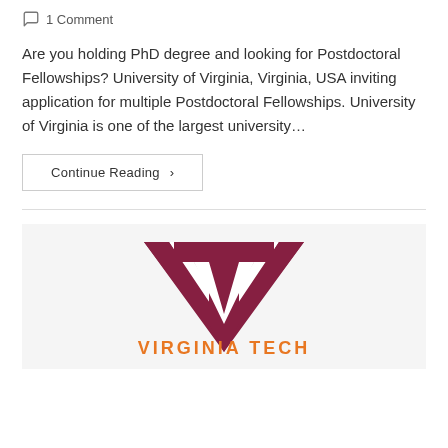1 Comment
Are you holding PhD degree and looking for Postdoctoral Fellowships? University of Virginia, Virginia, USA inviting application for multiple Postdoctoral Fellowships. University of Virginia is one of the largest university…
Continue Reading ▶
[Figure (logo): Virginia Tech logo with maroon VT monogram and orange VIRGINIA TECH text below]